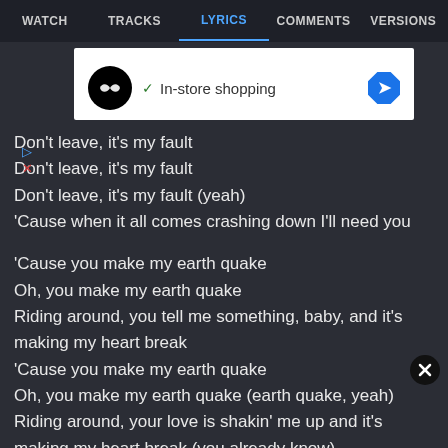WATCH   TRACKS   LYRICS   COMMENTS   VERSIONS
[Figure (screenshot): Advertisement banner with black circle logo with infinity symbol, green checkmark, text 'In-store shopping', and blue diamond arrow icon on white background]
Don't leave, it's my fault
Don't leave, it's my fault
Don't leave, it's my fault (yeah)
'Cause when it all comes crashing down I'll need you
'Cause you make my earth quake
Oh, you make my earth quake
Riding around, you tell me something, baby, and it's making my heart break
'Cause you make my earth quake
Oh, you make my earth quake (earth quake, yeah)
Riding around, your love is shakin' me up and it's making my heart break (you already know)